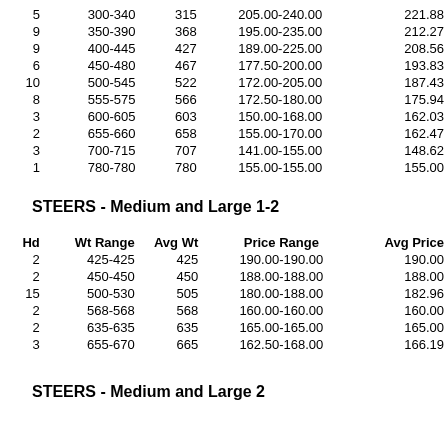| Hd | Wt Range | Avg Wt | Price Range | Avg Price |
| --- | --- | --- | --- | --- |
| 5 | 300-340 | 315 | 205.00-240.00 | 221.88 |
| 9 | 350-390 | 368 | 195.00-235.00 | 212.27 |
| 9 | 400-445 | 427 | 189.00-225.00 | 208.56 |
| 6 | 450-480 | 467 | 177.50-200.00 | 193.83 |
| 10 | 500-545 | 522 | 172.00-205.00 | 187.43 |
| 8 | 555-575 | 566 | 172.50-180.00 | 175.94 |
| 3 | 600-605 | 603 | 150.00-168.00 | 162.03 |
| 2 | 655-660 | 658 | 155.00-170.00 | 162.47 |
| 3 | 700-715 | 707 | 141.00-155.00 | 148.62 |
| 1 | 780-780 | 780 | 155.00-155.00 | 155.00 |
STEERS - Medium and Large 1-2
| Hd | Wt Range | Avg Wt | Price Range | Avg Price |
| --- | --- | --- | --- | --- |
| 2 | 425-425 | 425 | 190.00-190.00 | 190.00 |
| 2 | 450-450 | 450 | 188.00-188.00 | 188.00 |
| 15 | 500-530 | 505 | 180.00-188.00 | 182.96 |
| 2 | 568-568 | 568 | 160.00-160.00 | 160.00 |
| 2 | 635-635 | 635 | 165.00-165.00 | 165.00 |
| 3 | 655-670 | 665 | 162.50-168.00 | 166.19 |
STEERS - Medium and Large 2